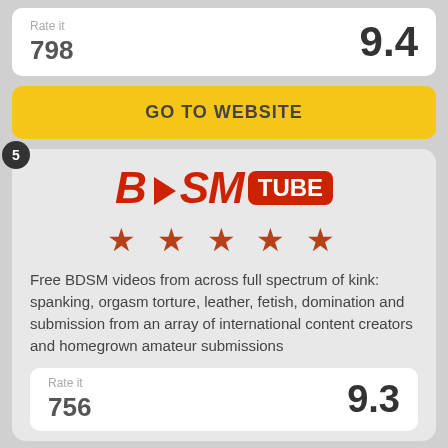Rate it 798 | 9.4
GO TO WEBSITE
5
[Figure (logo): BDSM Tube logo in red with play button triangle]
[Figure (other): 5 red stars rating]
Free BDSM videos from across full spectrum of kink: spanking, orgasm torture, leather, fetish, domination and submission from an array of international content creators and homegrown amateur submissions
Rate it 756 | 9.3
GO TO WEBSITE